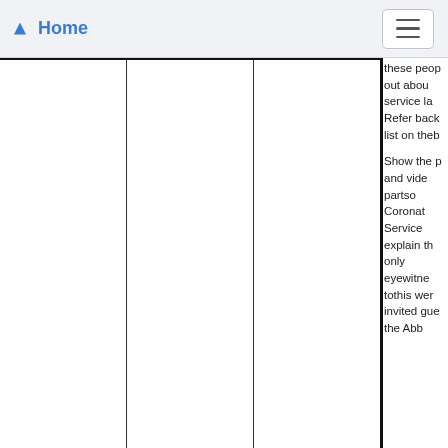Home
these people out about service la Refer back list on theb Show the p and video partso Coronat Service explain th only eyewitne tothis wer invited gue the Abb